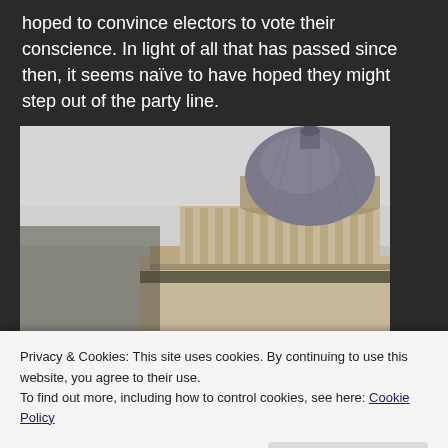hoped to convince electors to vote their conscience. In light of all that has passed since then, it seems naïve to have hoped they might step out of the party line.
[Figure (photo): Upward-angle photograph of a neoclassical government building dome with columns, taken against an overcast grey sky.]
Privacy & Cookies: This site uses cookies. By continuing to use this website, you agree to their use.
To find out more, including how to control cookies, see here: Cookie Policy
Close and accept